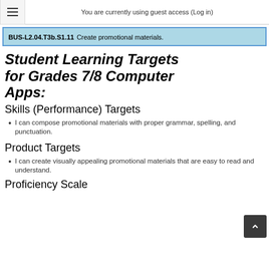You are currently using guest access (Log in)
BUS-L2.04.T3b.S1.11 Create promotional materials.
Student Learning Targets for Grades 7/8 Computer Apps:
Skills (Performance) Targets
I can compose promotional materials with proper grammar, spelling, and punctuation.
Product Targets
I can create visually appealing promotional materials that are easy to read and understand.
Proficiency Scale